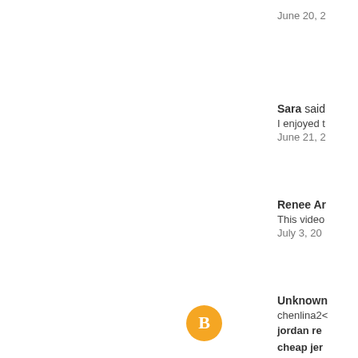June 20, 2...
Sara said...
I enjoyed t...
June 21, 2...
Renee Ar...
This video...
July 3, 20...
Unknown...
chenlina20
jordan re
cheap jer
michael k
coach fao
hollister c
louis vuit
oakley su
jordan 5
ralph laur